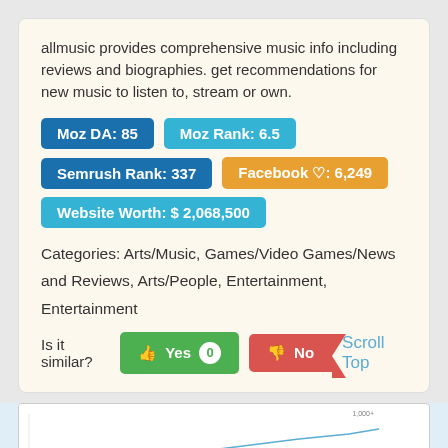allmusic provides comprehensive music info including reviews and biographies. get recommendations for new music to listen to, stream or own.
Moz DA: 85
Moz Rank: 6.5
Semrush Rank: 337
Facebook ♡: 6,249
Website Worth: $ 2,068,500
Categories: Arts/Music, Games/Video Games/News and Reviews, Arts/People, Entertainment, Entertainment
Is it similar? Yes 0 No
Scroll Top
[Figure (line-chart): Small line chart thumbnail at bottom of page]